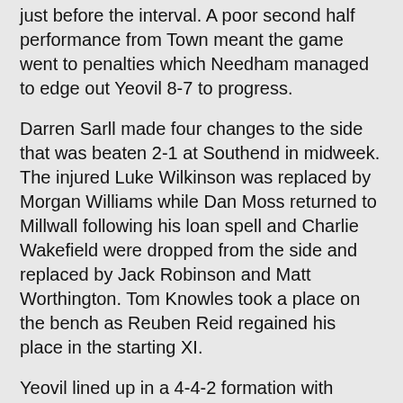just before the interval. A poor second half performance from Town meant the game went to penalties which Needham managed to edge out Yeovil 8-7 to progress.
Darren Sarll made four changes to the side that was beaten 2-1 at Southend in midweek. The injured Luke Wilkinson was replaced by Morgan Williams while Dan Moss returned to Millwall following his loan spell and Charlie Wakefield were dropped from the side and replaced by Jack Robinson and Matt Worthington. Tom Knowles took a place on the bench as Reuben Reid regained his place in the starting XI.
Yeovil lined up in a 4-4-2 formation with Morgan Williams, Josh Staunton, Max Hunt and Jack Robinson in front of Grant Smith. Dale Gorman, Matt Worthington, Jordan Barnett and Sonny Blu Lo-Everton made up the midfield while Adi Yussuf and Reuben Reid lead the attack.